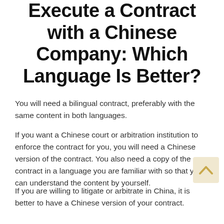Execute a Contract with a Chinese Company: Which Language Is Better?
You will need a bilingual contract, preferably with the same content in both languages.
If you want a Chinese court or arbitration institution to enforce the contract for you, you will need a Chinese version of the contract. You also need a copy of the contract in a language you are familiar with so that you can understand the content by yourself.
If you are willing to litigate or arbitrate in China, it is better to have a Chinese version of your contract.
First of all, in terms of litigation in China, Chinese laws require courts to use the Chinese language when hearing foreign-related cases.
This means that even if you do not have a Chinese version when you